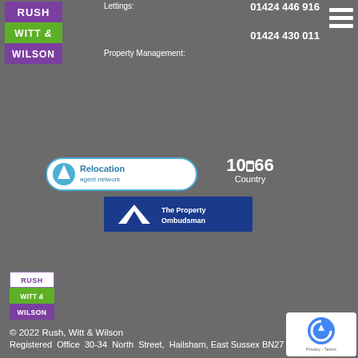[Figure (logo): Rush Witt & Wilson estate agents logo top left - three stacked coloured bars: purple with RUSH, green with WITT &, purple with WILSON]
Lettings: 01424 446 916
Property Management: 01424 430 011
[Figure (logo): Hamburger menu icon, three horizontal white lines on grey background]
[Figure (logo): Relocation agent network logo - blue circular badge with text]
[Figure (logo): 1066 Country logo - white text on grey]
[Figure (logo): The Property Ombudsman logo - dark blue banner with white triangle and text]
[Figure (logo): Rush Witt & Wilson estate agents logo bottom, smaller version]
© 2022 Rush, Witt & Wilson
Registered Office  30-34  North  Street,  Hailsham, East Sussex BN27 1DW
Terms of Use | Privacy Policy | Contact
Images  courtesy  of  Matt  Southam  and Clive Sawyer
[Figure (logo): reCAPTCHA badge - white box with Google reCAPTCHA shield logo and Privacy - Terms text]